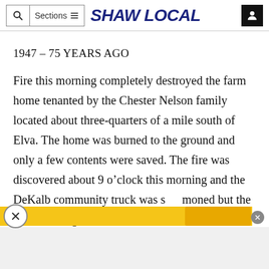Shaw Local — navigation bar with search, sections, logo, and user icon
1947 – 75 YEARS AGO
Fire this morning completely destroyed the farm home tenanted by the Chester Nelson family located about three-quarters of a mile south of Elva. The home was burned to the ground and only a few contents were saved. The fire was discovered about 9 o'clock this morning and the DeKalb community truck was summoned but the fire had too great a start and there
[Figure (other): Advertisement banner overlay with yellow background and close buttons]